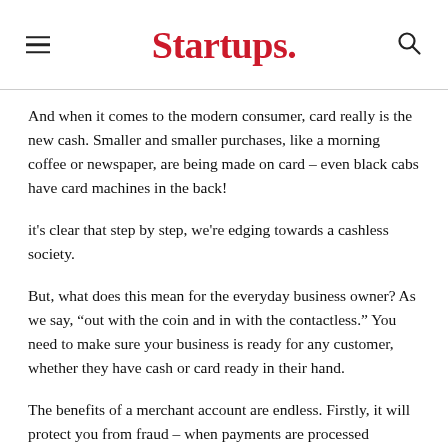Startups.
And when it comes to the modern consumer, card really is the new cash. Smaller and smaller purchases, like a morning coffee or newspaper, are being made on card – even black cabs have card machines in the back!
it's clear that step by step, we're edging towards a cashless society.
But, what does this mean for the everyday business owner? As we say, “out with the coin and in with the contactless.” You need to make sure your business is ready for any customer, whether they have cash or card ready in their hand.
The benefits of a merchant account are endless. Firstly, it will protect you from fraud – when payments are processed